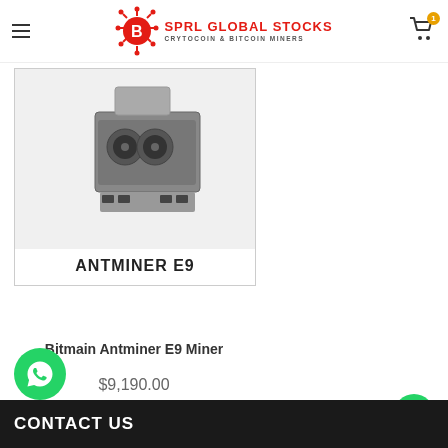SPRL GLOBAL STOCKS — CRYTOCOIN & BITCOIN MINERS
[Figure (photo): Bitmain Antminer E9 hardware mining device with three fans, shown in product card with label ANTMINER E9]
Bitmain Antminer E9 Miner
$9,190.00
Order via WhatsApp
CONTACT US